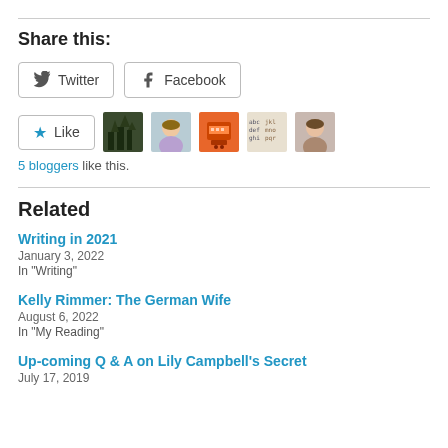Share this:
Twitter  Facebook
[Figure (other): Like button with star icon, followed by 5 blogger avatar thumbnails]
5 bloggers like this.
Related
Writing in 2021
January 3, 2022
In "Writing"
Kelly Rimmer: The German Wife
August 6, 2022
In "My Reading"
Up-coming Q & A on Lily Campbell's Secret
July 17, 2019